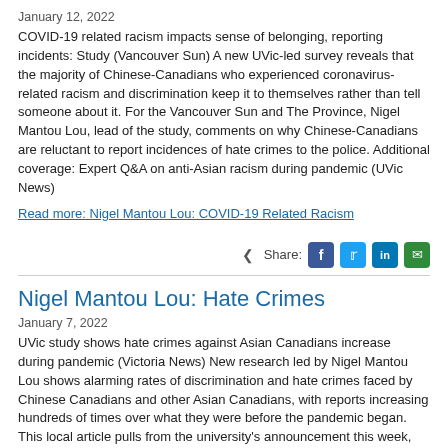January 12, 2022
COVID-19 related racism impacts sense of belonging, reporting incidents: Study (Vancouver Sun) A new UVic-led survey reveals that the majority of Chinese-Canadians who experienced coronavirus-related racism and discrimination keep it to themselves rather than tell someone about it. For the Vancouver Sun and The Province, Nigel Mantou Lou, lead of the study, comments on why Chinese-Canadians are reluctant to report incidences of hate crimes to the police. Additional coverage: Expert Q&A on anti-Asian racism during pandemic (UVic News)
Read more: Nigel Mantou Lou: COVID-19 Related Racism
Share:
Nigel Mantou Lou: Hate Crimes
January 7, 2022
UVic study shows hate crimes against Asian Canadians increase during pandemic (Victoria News) New research led by Nigel Mantou Lou shows alarming rates of discrimination and hate crimes faced by Chinese Canadians and other Asian Canadians, with reports increasing hundreds of times over what they were before the pandemic began. This local article pulls from the university's announcement this week, while Radio Canada turned directly to Lou for commentary. Additional coverage: Le racisme anti-asiatiques continue d'avoir des conséquences avec la pandémie (Radio-Canada) Expert Q&A on anti-Asian racism during pandemic (UVic News)